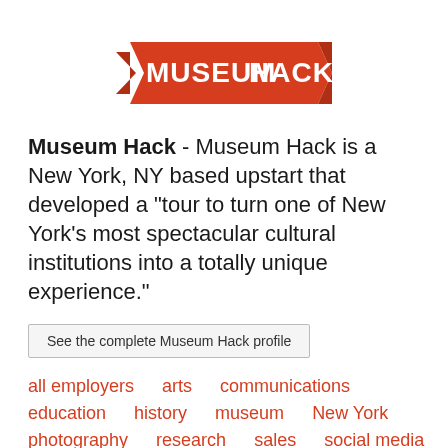[Figure (logo): Museum Hack logo: red banner ribbon with white text reading MUSEUMHACK in bold capitals]
Museum Hack - Museum Hack is a New York, NY based upstart that developed a “tour to turn one of New York’s most spectacular cultural institutions into a totally unique experience.”
See the complete Museum Hack profile
all employers
arts
communications
education
history
museum
New York
photography
research
sales
social media